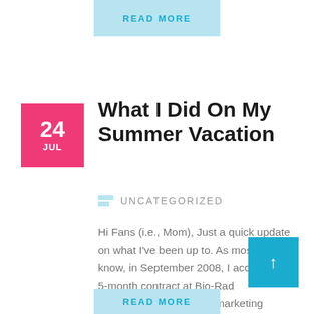READ MORE
What I Did On My Summer Vacation
Uncategorized
Hi Fans (i.e., Mom), Just a quick update on what I've been up to. As most of you know, in September 2008, I accepted a 5-month contract at Bio-Rad Laboratories to help the marketing communications team update their webs content...
READ MORE